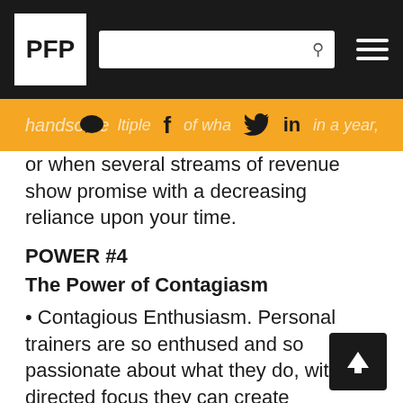PFP [navigation bar with search and social icons]
handsome multiple of what you earn in a year, or when several streams of revenue show promise with a decreasing reliance upon your time.
POWER #4
The Power of Contagiasm
• Contagious Enthusiasm. Personal trainers are so enthused and so passionate about what they do, with directed focus they can create massive awareness by speaking to only a handful of new people every day.